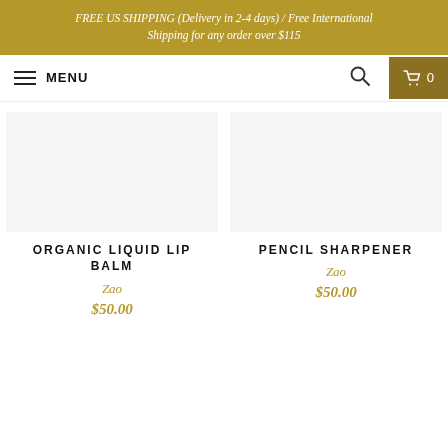FREE US SHIPPING (Delivery in 2-4 days) / Free International Shipping for any order over $115
MENU
ORGANIC LIQUID LIP BALM
Zao
$50.00
PENCIL SHARPENER
Zao
$50.00